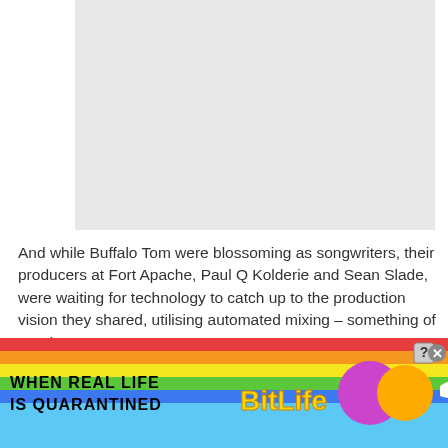[Figure (other): Light gray rectangular image placeholder]
And while Buffalo Tom were blossoming as songwriters, their producers at Fort Apache, Paul Q Kolderie and Sean Slade, were waiting for technology to catch up to the production vision they shared, utilising automated mixing – something of a rarity.
[Figure (other): Advertisement banner for BitLife game with rainbow background, text 'WHEN REAL LIFE IS QUARANTINED' and 'BitLife' logo with cartoon characters]